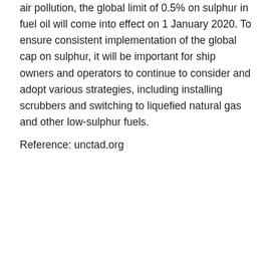air pollution, the global limit of 0.5% on sulphur in fuel oil will come into effect on 1 January 2020. To ensure consistent implementation of the global cap on sulphur, it will be important for ship owners and operators to continue to consider and adopt various strategies, including installing scrubbers and switching to liquefied natural gas and other low-sulphur fuels.
Reference: unctad.org